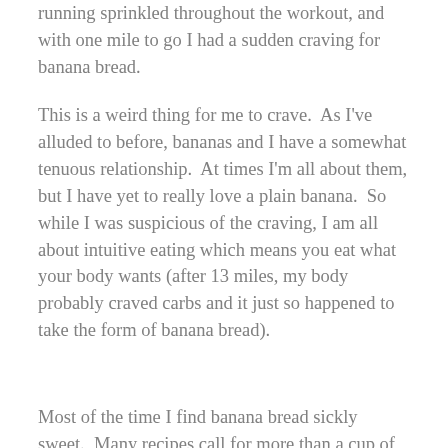running sprinkled throughout the workout, and with one mile to go I had a sudden craving for banana bread.
This is a weird thing for me to crave.  As I've alluded to before, bananas and I have a somewhat tenuous relationship.  At times I'm all about them, but I have yet to really love a plain banana.  So while I was suspicious of the craving, I am all about intuitive eating which means you eat what your body wants (after 13 miles, my body probably craved carbs and it just so happened to take the form of banana bread).
Most of the time I find banana bread sickly sweet.  Many recipes call for more than a cup of sugar, which on top of the banana's natural sweetness turns what